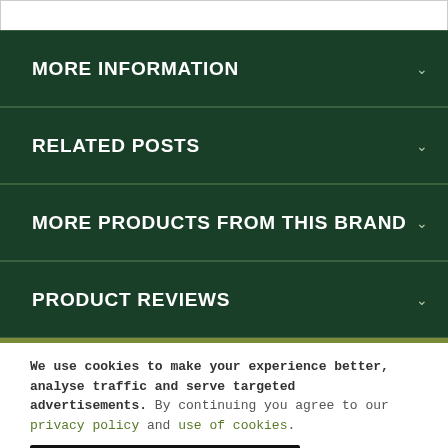MORE INFORMATION
RELATED POSTS
MORE PRODUCTS FROM THIS BRAND
PRODUCT REVIEWS
We use cookies to make your experience better, analyse traffic and serve targeted advertisements. By continuing you agree to our privacy policy and use of cookies.
Accept and close